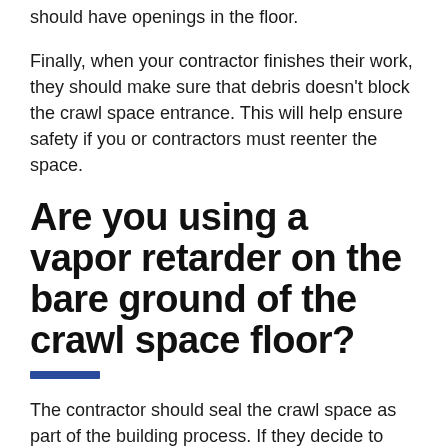should have openings in the floor.
Finally, when your contractor finishes their work, they should make sure that debris doesn't block the crawl space entrance. This will help ensure safety if you or contractors must reenter the space.
Are you using a vapor retarder on the bare ground of the crawl space floor?
The contractor should seal the crawl space as part of the building process. If they decide to build an unvented crawl space foundation, they must cover the exposed earth with a high-performance vapor retarder. Vapor retarder